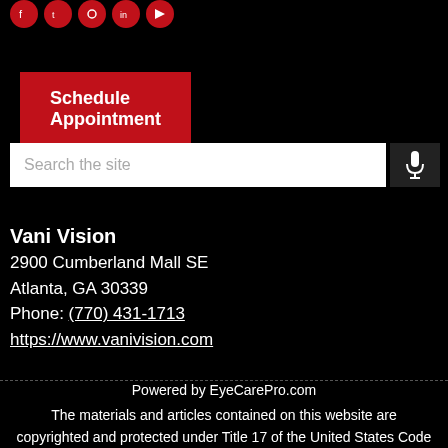[Figure (other): Row of circular red social media icon buttons at top of page]
Schedule Appointment
Search the site
Vani Vision
2900 Cumberland Mall SE
Atlanta, GA 30339
Phone: (770) 431-1713
https://www.vanivision.com
Powered by EyeCarePro.com
The materials and articles contained on this website are copyrighted and protected under Title 17 of the United States Code